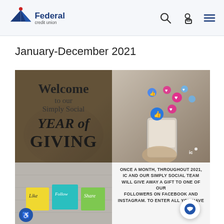IC Federal credit union [logo] with search, login, and menu icons
January-December 2021
[Figure (illustration): Promotional graphic for IC Federal Credit Union 'Simply Social Year of Giving' campaign. Left panel: dark brown/tan background with text 'Welcome to our Simply Social YEAR of GIVING'. Right panel: person holding smartphone with social media icons (hearts, likes, shares) floating above. Bottom left: sticky notes saying Like, Follow, Share on a concrete wall. Bottom right: text reading 'ONCE A MONTH, THROUGHOUT 2021, IC AND OUR SIMPLY SOCIAL TEAM WILL GIVE AWAY A GIFT TO ONE OF OUR FOLLOWERS ON FACEBOOK AND INSTAGRAM. TO ENTER ALL YOU HAVE']